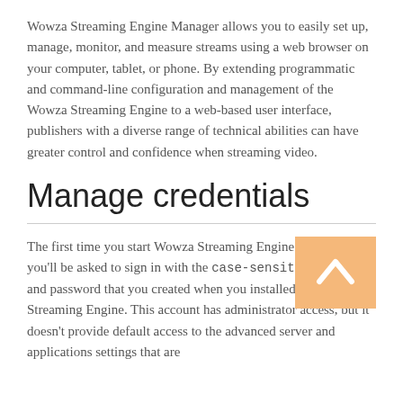Wowza Streaming Engine Manager allows you to easily set up, manage, monitor, and measure streams using a web browser on your computer, tablet, or phone. By extending programmatic and command-line configuration and management of the Wowza Streaming Engine to a web-based user interface, publishers with a diverse range of technical abilities can have greater control and confidence when streaming video.
Manage credentials
The first time you start Wowza Streaming Engine Manager, you'll be asked to sign in with the case-sensitive user name and password that you created when you installed Wowza Streaming Engine. This account has administrator access, but it doesn't provide default access to the advanced server and applications settings that are